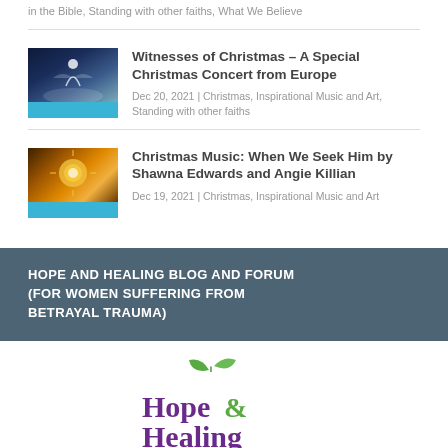in the Bible, Standing with other faiths, What We Believe
Witnesses of Christmas – A Special Christmas Concert from Europe
Dec 20, 2021 | Christmas, Inspirational Music and Art, Standing with other faiths
Christmas Music: When We Seek Him by Shawna Edwards and Angie Killian
Dec 19, 2021 | Christmas, Inspirational Music and Art
HOPE AND HEALING BLOG AND FORUM (FOR WOMEN SUFFERING FROM BETRAYAL TRAUMA)
[Figure (logo): Hope & Healing logo with green leaf icons above purple and green text]